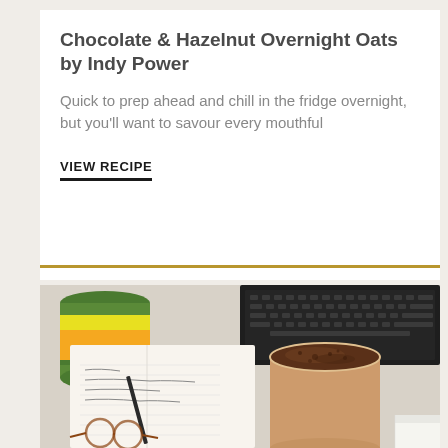Chocolate & Hazelnut Overnight Oats by Indy Power
Quick to prep ahead and chill in the fridge overnight, but you'll want to savour every mouthful
VIEW RECIPE
[Figure (photo): Photo of chocolate overnight oats in a glass jar on a desk with notebook, pen, glasses, a green tin can, and a laptop keyboard in the background]